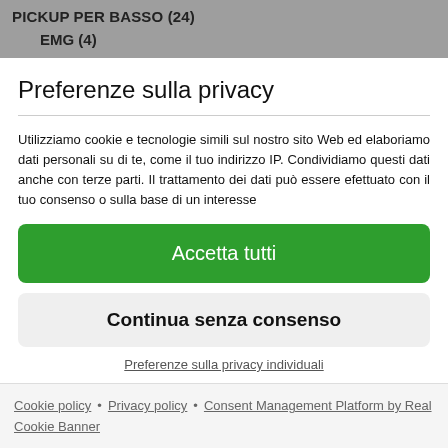PICKUP PER BASSO (24)
    EMG (4)
Preferenze sulla privacy
Utilizziamo cookie e tecnologie simili sul nostro sito Web ed elaboriamo dati personali su di te, come il tuo indirizzo IP. Condividiamo questi dati anche con terze parti. Il trattamento dei dati può essere efettuato con il tuo consenso o sulla base di un interesse
Accetta tutti
Continua senza consenso
Preferenze sulla privacy individuali
Cookie policy • Privacy policy • Consent Management Platform by Real Cookie Banner